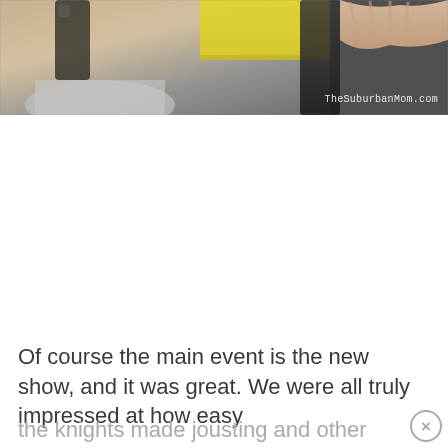[Figure (photo): Partial photo of a person's hands working with kitchen items, yellow object visible. Watermark reads 'TheSuburbanMom.com' in bottom right.]
Of course the main event is the new show, and it was great. We were all truly impressed at how easy the knights made jousting and other medieval